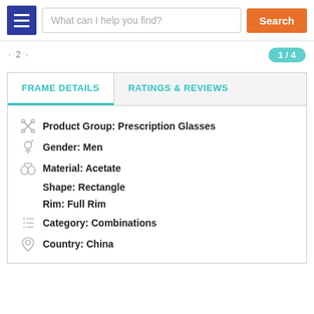What can I help you find? Search
FRAME DETAILS | RATINGS & REVIEWS
Product Group: Prescription Glasses
Gender: Men
Material: Acetate
Shape: Rectangle
Rim: Full Rim
Category: Combinations
Country: China